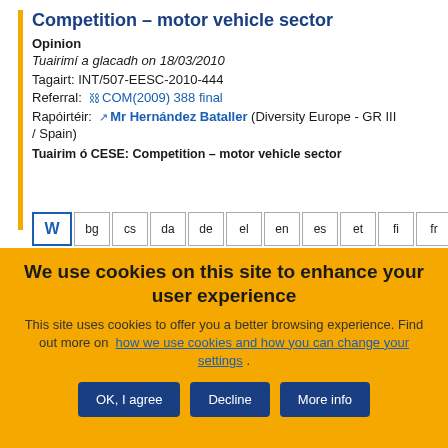Competition – motor vehicle sector
Opinion
Tuairimí a glacadh on 18/03/2010
Tagairt: INT/507-EESC-2010-444
Referral: COM(2009) 388 final
Rapóirtéir: Mr Hernández Bataller (Diversity Europe - GR III / Spain)
Tuairim ó CESE: Competition – motor vehicle sector
W bg cs da de el en es et fi fr
We use cookies on this site to enhance your user experience
This site uses cookies to offer you a better browsing experience. Find out more on how we use cookies and how you can change your settings .
OK, I agree | Decline | More info